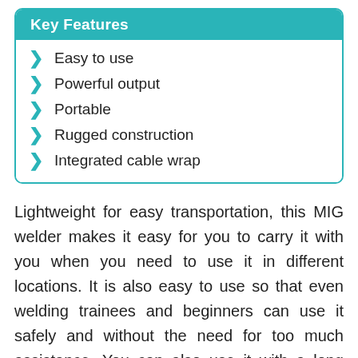Key Features
Easy to use
Powerful output
Portable
Rugged construction
Integrated cable wrap
Lightweight for easy transportation, this MIG welder makes it easy for you to carry it with you when you need to use it in different locations. It is also easy to use so that even welding trainees and beginners can use it safely and without the need for too much assistance. You can also use it with a long wire because it has an integrated wrap that ensures no wires are hanging when